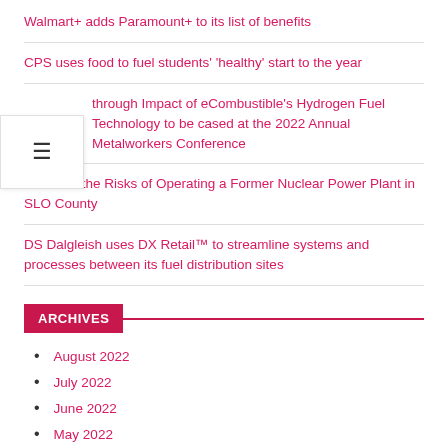Walmart+ adds Paramount+ to its list of benefits
CPS uses food to fuel students' 'healthy' start to the year
Breakthrough Impact of eCombustible's Hydrogen Fuel Technology to be Showcased at the 2022 Annual Metalworkers Conference
Consider the Risks of Operating a Former Nuclear Power Plant in SLO County
DS Dalgleish uses DX Retail™ to streamline systems and processes between its fuel distribution sites
ARCHIVES
August 2022
July 2022
June 2022
May 2022
April 2022